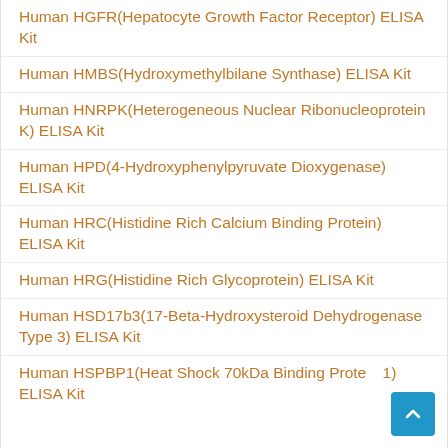Human HGFR(Hepatocyte Growth Factor Receptor) ELISA Kit
Human HMBS(Hydroxymethylbilane Synthase) ELISA Kit
Human HNRPK(Heterogeneous Nuclear Ribonucleoprotein K) ELISA Kit
Human HPD(4-Hydroxyphenylpyruvate Dioxygenase) ELISA Kit
Human HRC(Histidine Rich Calcium Binding Protein) ELISA Kit
Human HRG(Histidine Rich Glycoprotein) ELISA Kit
Human HSD17b3(17-Beta-Hydroxysteroid Dehydrogenase Type 3) ELISA Kit
Human HSPBP1(Heat Shock 70kDa Binding Protein 1) ELISA Kit